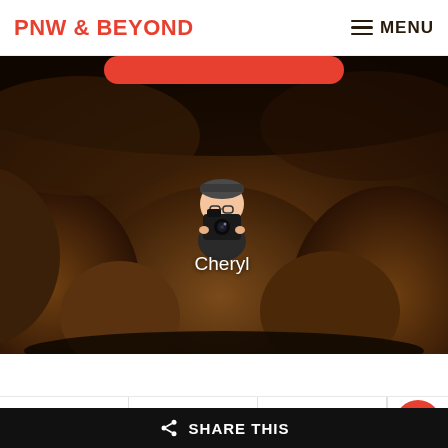PNW & BEYOND    ☰ MENU
[Figure (photo): Dark cave interior with rounded brown rocks and boulders, dimly lit with warm tones. A cartoon avatar of a woman holding a camera (Cheryl) is overlaid in the center with name label below.]
Cheryl
[Figure (infographic): Social sharing buttons: Facebook, Twitter, Pinterest, and a partially visible button on the right.]
SHARE THIS